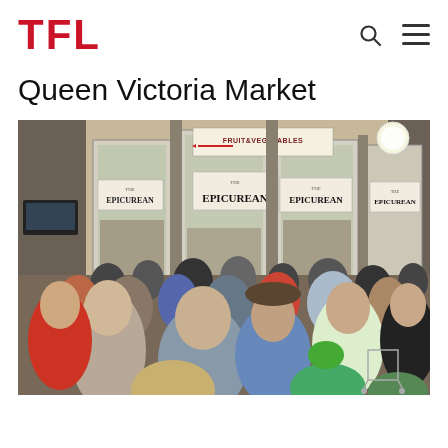TFL
Queen Victoria Market
[Figure (photo): Busy outdoor market scene at Queen Victoria Market showing The Epicurean shop fronts with large glass windows displaying 'FRUIT & VEGETABLES' signage and 'THE EPICUREAN' branding on multiple storefronts. A large crowd of shoppers fills the foreground.]